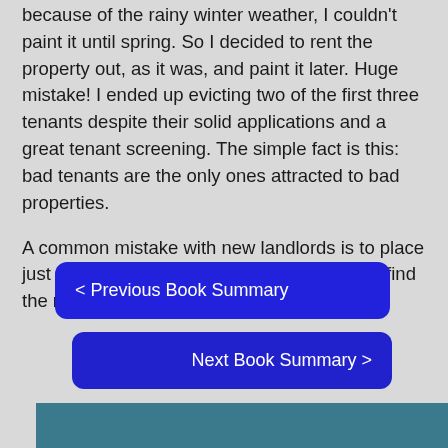because of the rainy winter weather, I couldn't paint it until spring. So I decided to rent the property out, as it was, and paint it later. Huge mistake! I ended up evicting two of the first three tenants despite their solid applications and a great tenant screening. The simple fact is this: bad tenants are the only ones attracted to bad properties.
A common mistake with new landlords is to place just anyone in a unit…. You actually need to find the right tenant, not just any tenant.
< Previous Book Summary
Next Book Summary >